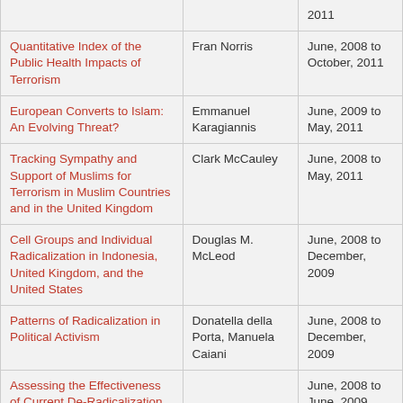| Project Title | Principal Investigator | Period |
| --- | --- | --- |
|  |  | 2011 |
| Quantitative Index of the Public Health Impacts of Terrorism | Fran Norris | June, 2008 to October, 2011 |
| European Converts to Islam: An Evolving Threat? | Emmanuel Karagiannis | June, 2009 to May, 2011 |
| Tracking Sympathy and Support of Muslims for Terrorism in Muslim Countries and in the United Kingdom | Clark McCauley | June, 2008 to May, 2011 |
| Cell Groups and Individual Radicalization in Indonesia, United Kingdom, and the United States | Douglas M. McLeod | June, 2008 to December, 2009 |
| Patterns of Radicalization in Political Activism | Donatella della Porta, Manuela Caiani | June, 2008 to December, 2009 |
| Assessing the Effectiveness of Current De-Radicalization Initiatives and Identifying Implications for the |  | June, 2008 to June, 2009 |